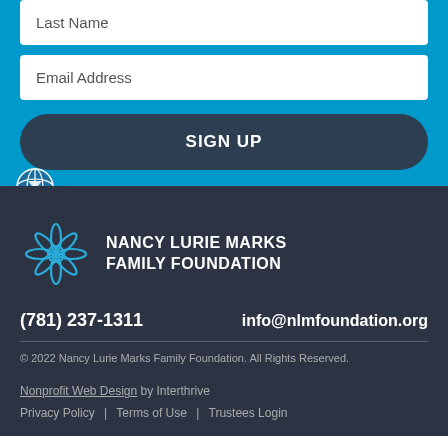Last Name
Email Address
SIGN UP
[Figure (logo): Globe/world icon in blue and white]
[Figure (logo): Nancy Lurie Marks Family Foundation logo with stylized flower/snowflake icon in blue outline and white text]
(781) 237-1311
info@nlmfoundation.org
© 2022 Nancy Lurie Marks Family Foundation. All Rights Reserved.
Nonprofit Web Design by Interthrive
Privacy Policy  |  Terms of Use  |  Trustees Login